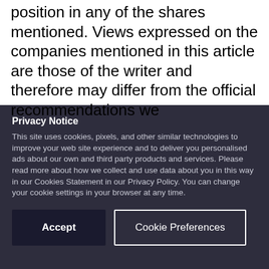position in any of the shares mentioned. Views expressed on the companies mentioned in this article are those of the writer and therefore may differ from the official recommendations we
Privacy Notice
This site uses cookies, pixels, and other similar technologies to improve your web site experience and to deliver you personalised ads about our own and third party products and services. Please read more about how we collect and use data about you in this way in our Cookies Statement in our Privacy Policy. You can change your cookie settings in your browser at any time.